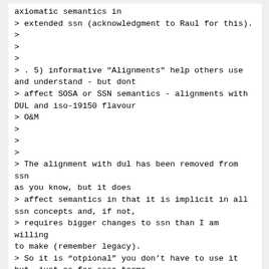axiomatic semantics in
> extended ssn (acknowledgment to Raul for this).
>
>
>
> . 5) informative "Alignments" help others use and understand - but dont
> affect SOSA or SSN semantics - alignments with DUL and iso-19150 flavour
> O&M
>
>
>
> The alignment with dul has been removed from ssn as you know, but it does
> affect semantics in that it is implicit in all ssn concepts and, if not,
> requires bigger changes to ssn than I am willing to make (remember legacy).
> So it is “otpional” you don’t have to use it but, just as for sosa terms,
> the descriptions of ssn terms (rdfs:comment) should be consistent with
> using the dul alignment.
>
>
>
> As for o&M alignment (repeating myself) I believe we need an alignment